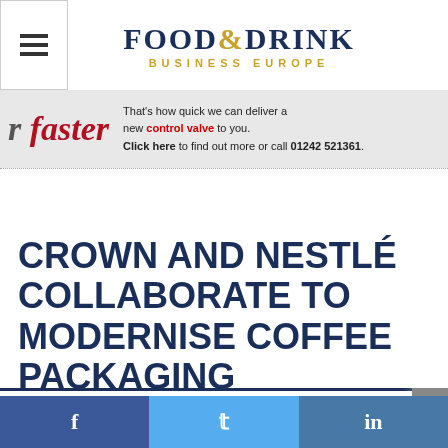FOOD&DRINK BUSINESS EUROPE
[Figure (screenshot): Advertisement banner: 'faster' text in red italic with tagline 'That's how quick we can deliver a new control valve to you. Click here to find out more or call 01242 521361.']
CROWN AND NESTLÉ COLLABORATE TO MODERNISE COFFEE PACKAGING
Crown and Nestlé Collaborate to